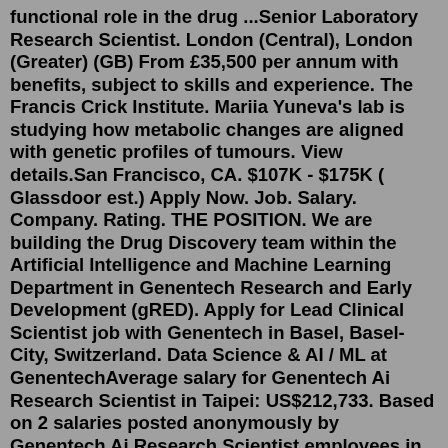functional role in the drug ...Senior Laboratory Research Scientist. London (Central), London (Greater) (GB) From £35,500 per annum with benefits, subject to skills and experience. The Francis Crick Institute. Mariia Yuneva's lab is studying how metabolic changes are aligned with genetic profiles of tumours. View details.San Francisco, CA. $107K - $175K ( Glassdoor est.) Apply Now. Job. Salary. Company. Rating. THE POSITION. We are building the Drug Discovery team within the Artificial Intelligence and Machine Learning Department in Genentech Research and Early Development (gRED). Apply for Lead Clinical Scientist job with Genentech in Basel, Basel-City, Switzerland. Data Science & AI / ML at GenentechAverage salary for Genentech Ai Research Scientist in Taipei: US$212,733. Based on 2 salaries posted anonymously by Genentech Ai Research Scientist employees in Taipei. Jul 25, 2022 · The estimated total pay for a Scientist at Genentech is $179,018 per year. This number represents the median which is the midpoint of the ranges for...